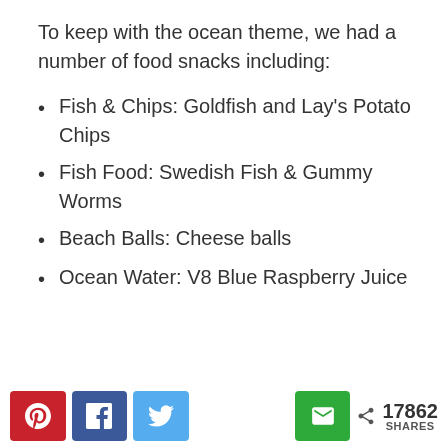To keep with the ocean theme, we had a number of food snacks including:
Fish & Chips: Goldfish and Lay's Potato Chips
Fish Food: Swedish Fish & Gummy Worms
Beach Balls: Cheese balls
Ocean Water: V8 Blue Raspberry Juice
17862 SHARES